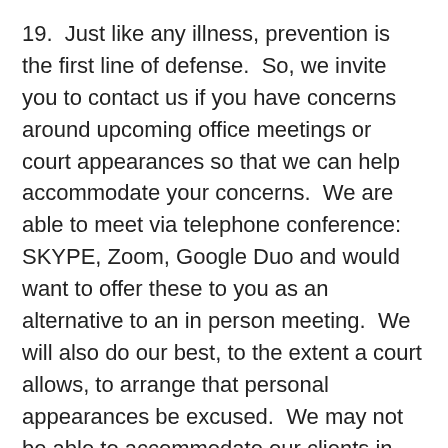19.  Just like any illness, prevention is the first line of defense.  So, we invite you to contact us if you have concerns around upcoming office meetings or court appearances so that we can help accommodate your concerns.  We are able to meet via telephone conference: SKYPE, Zoom, Google Duo and would want to offer these to you as an alternative to an in person meeting.  We will also do our best, to the extent a court allows, to arrange that personal appearances be excused.  We may not be able to accommodate our clients in every request but will do our best.
You should also know that since the beginning of this current situation, we have counseled all our employees to follow the common sense approaches to avoid the spread of COVID-19 and have asked our cleaning staff to provide more attention that we always assumed was enough.